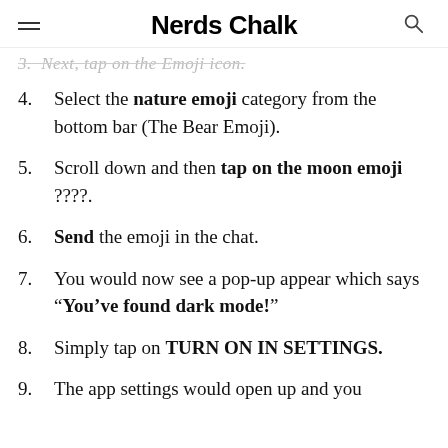Nerds Chalk
3. Next, tap on the Emoji icon.
4. Select the nature emoji category from the bottom bar (The Bear Emoji).
5. Scroll down and then tap on the moon emoji ????.
6. Send the emoji in the chat.
7. You would now see a pop-up appear which says “You’ve found dark mode!”
8. Simply tap on TURN ON IN SETTINGS.
9. The app settings would open up and you